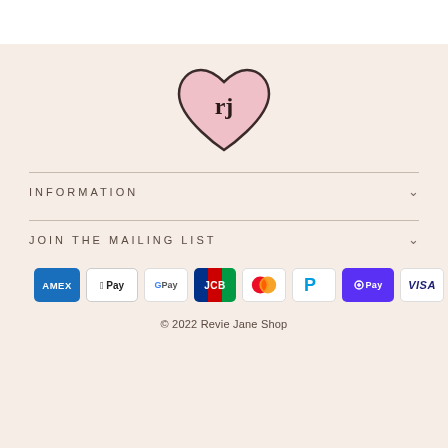[Figure (logo): Heart-shaped logo with pink fill and dark outline containing lowercase 'rj' text in serif font]
INFORMATION
JOIN THE MAILING LIST
[Figure (infographic): Row of payment method icons: American Express, Apple Pay, Google Pay, JCB, Mastercard, PayPal, Shop Pay, Visa]
© 2022 Revie Jane Shop